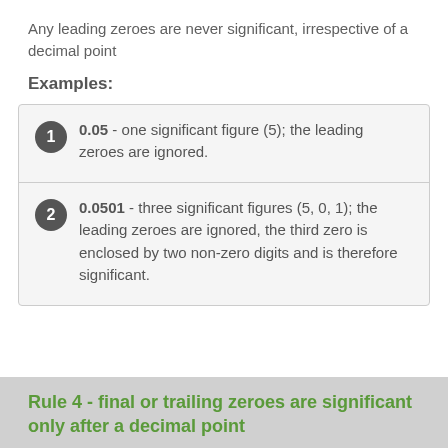Any leading zeroes are never significant, irrespective of a decimal point
Examples:
0.05 - one significant figure (5); the leading zeroes are ignored.
0.0501 - three significant figures (5, 0, 1); the leading zeroes are ignored, the third zero is enclosed by two non-zero digits and is therefore significant.
Rule 4 - final or trailing zeroes are significant only after a decimal point